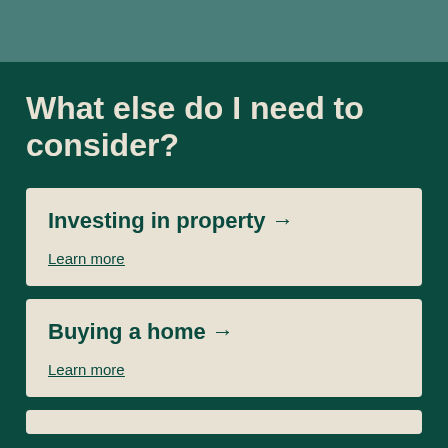What else do I need to consider?
Investing in property → Learn more
Buying a home → Learn more